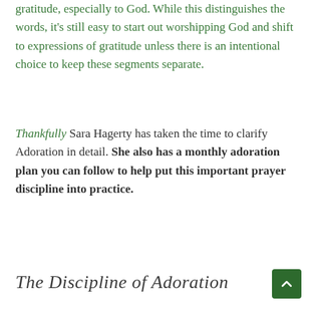gratitude, especially to God. While this distinguishes the words, it's still easy to start out worshipping God and shift to expressions of gratitude unless there is an intentional choice to keep these segments separate.
Thankfully Sara Hagerty has taken the time to clarify Adoration in detail. She also has a monthly adoration plan you can follow to help put this important prayer discipline into practice.
The Discipline of Adoration